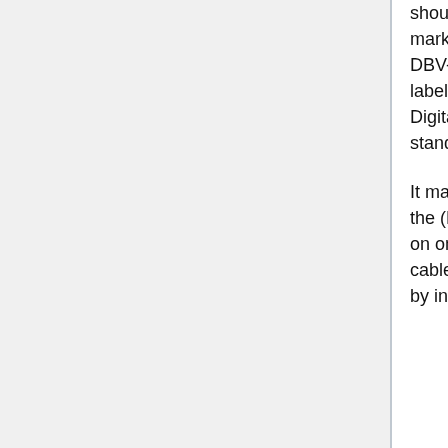should be a modern certificated Full-Digital AOP equipped with the cable mark and with 2(!) outputs only: 1 for the modem and 1 for the digital DBV-C signal. AOP's without this quality mark and/or with old certification label no longer meet(and may block low and high frequencies). Note: Digital/Analogue AOP's (which have 3 outputs) do not meet nowadays standard ! Only Full-Digital AOP's with 2 outputs should be used.
It may happen that interference occurs due to return path signals from the (Horizon) media box or cable modem. You will then see interference on one or more digital channels and if you switch off your media box or cable modem, the interference disappears. This problem can be solved by installing a "return-